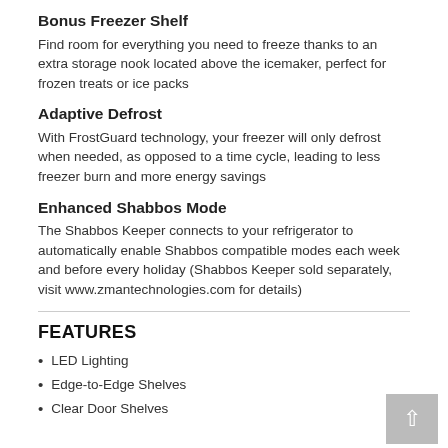Bonus Freezer Shelf
Find room for everything you need to freeze thanks to an extra storage nook located above the icemaker, perfect for frozen treats or ice packs
Adaptive Defrost
With FrostGuard technology, your freezer will only defrost when needed, as opposed to a time cycle, leading to less freezer burn and more energy savings
Enhanced Shabbos Mode
The Shabbos Keeper connects to your refrigerator to automatically enable Shabbos compatible modes each week and before every holiday (Shabbos Keeper sold separately, visit www.zmantechnologies.com for details)
FEATURES
LED Lighting
Edge-to-Edge Shelves
Clear Door Shelves